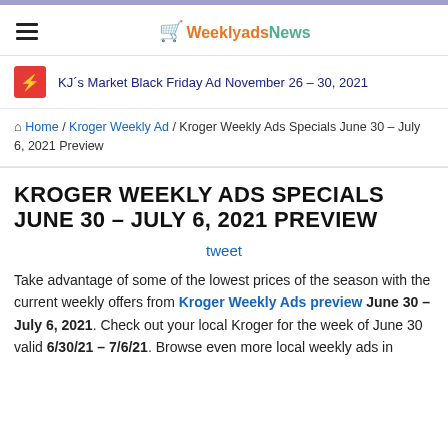WeeklyadsNews
KJ´s Market Black Friday Ad November 26 – 30, 2021
Home / Kroger Weekly Ad / Kroger Weekly Ads Specials June 30 – July 6, 2021 Preview
KROGER WEEKLY ADS SPECIALS JUNE 30 – JULY 6, 2021 PREVIEW
tweet
Take advantage of some of the lowest prices of the season with the current weekly offers from Kroger Weekly Ads preview June 30 – July 6, 2021. Check out your local Kroger for the week of June 30 valid 6/30/21 – 7/6/21. Browse even more local weekly ads in